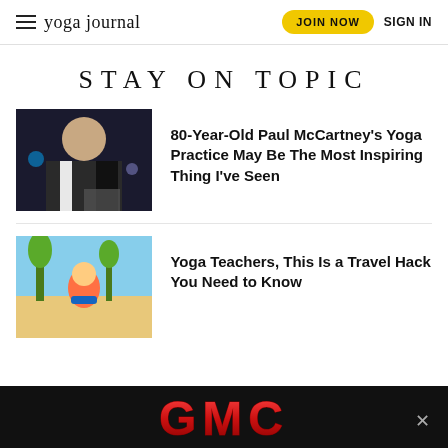yoga journal | JOIN NOW | SIGN IN
STAY ON TOPIC
[Figure (photo): Paul McCartney on stage with arm raised, wearing black vest and white shirt, concert lighting]
80-Year-Old Paul McCartney's Yoga Practice May Be The Most Inspiring Thing I've Seen
[Figure (photo): Yoga teacher outdoors holding a yoga mat, palm trees in background, sunny day]
Yoga Teachers, This Is a Travel Hack You Need to Know
[Figure (other): GMC advertisement banner with red GMC logo on black background with close button]